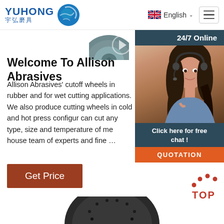YUHONG 宇弘磨具 | English | Navigation
[Figure (photo): Abrasive cutoff wheel partially visible at top right of main content area]
[Figure (photo): Customer service agent woman with headset, smiling, with 24/7 Online banner above and Click here for free chat overlay below]
Welcome To Allison Abrasives
Allison Abrasives' cutoff wheels in rubber and for wet cutting applications. We also produce cutting wheels in cold and hot press configur can cut any type, size and temperature of me house team of experts and fine …
Get Price
[Figure (logo): TOP button with red dots arc above and red TOP text]
[Figure (photo): Abrasive cutoff wheel partially visible at bottom center]